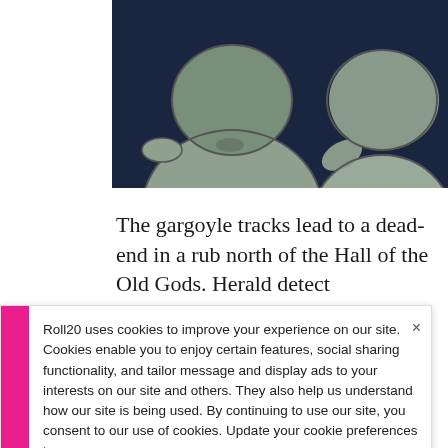[Figure (illustration): Animated illustration showing cartoon gargoyle-like characters in greens and grays against a dark blue background. Two rounded figures with outlines are visible from the torso up.]
The gargoyle tracks lead to a dead-end in a rub north of the Hall of the Old Gods. Herald detect
Roll20 uses cookies to improve your experience on our site. Cookies enable you to enjoy certain features, social sharing functionality, and tailor message and display ads to your interests on our site and others. They also help us understand how our site is being used. By continuing to use our site, you consent to our use of cookies. Update your cookie preferences here.
three gargoyles, and there are four plinths). Un necrotic inner sanctum, and he tries to scare us